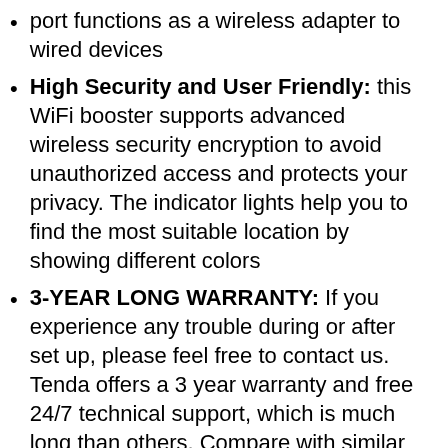port functions as a wireless adapter to wired devices
High Security and User Friendly: this WiFi booster supports advanced wireless security encryption to avoid unauthorized access and protects your privacy. The indicator lights help you to find the most suitable location by showing different colors
3-YEAR LONG WARRANTY: If you experience any trouble during or after set up, please feel free to contact us. Tenda offers a 3 year warranty and free 24/7 technical support, which is much long than others. Compare with similar items
WIFI AP FUNCTION: Tenda A18 internet booster wireless range extender has fast ethernet port, connect a wired device to WiFi, like smart TV, printer, blu-ray player